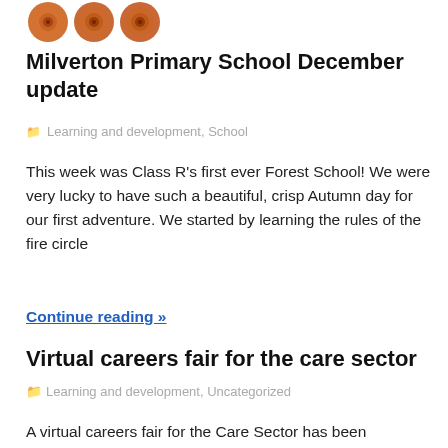[Figure (logo): Three orange spiral shell/snail decorative icons used as a school logo]
Milverton Primary School December update
Learning and development, School
This week was Class R's first ever Forest School! We were very lucky to have such a beautiful, crisp Autumn day for our first adventure. We started by learning the rules of the fire circle
Continue reading »
Virtual careers fair for the care sector
Learning and development, Uncategorized
A virtual careers fair for the Care Sector has been